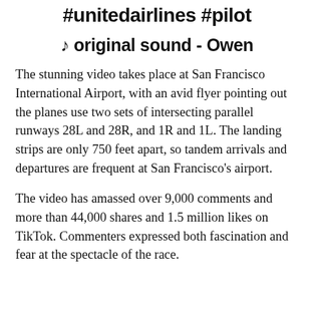#unitedairlines #pilot
♪ original sound - Owen
The stunning video takes place at San Francisco International Airport, with an avid flyer pointing out the planes use two sets of intersecting parallel runways 28L and 28R, and 1R and 1L. The landing strips are only 750 feet apart, so tandem arrivals and departures are frequent at San Francisco's airport.
The video has amassed over 9,000 comments and more than 44,000 shares and 1.5 million likes on TikTok. Commenters expressed both fascination and fear at the spectacle of the race.